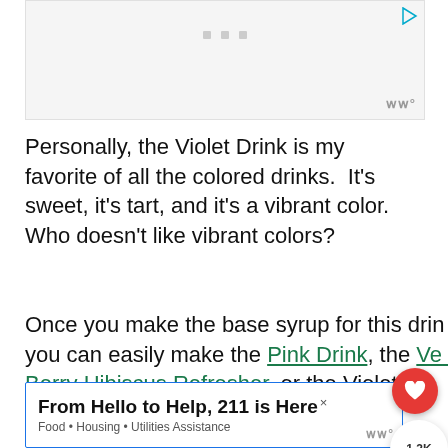[Figure (other): Advertisement placeholder block at top of page with play button icon, dots, and logo watermark]
Personally, the Violet Drink is my favorite of all the colored drinks.  It's sweet, it's tart, and it's a vibrant color. Who doesn't like vibrant colors?
Once you make the base syrup for this drink, you can easily make the Pink Drink, the Very Berry Hibiscus Refresher, or the Violet Drink interchangeably.
[Figure (other): Bottom advertisement banner: From Hello to Help, 211 is Here — Food · Housing · Utilities Assistance]